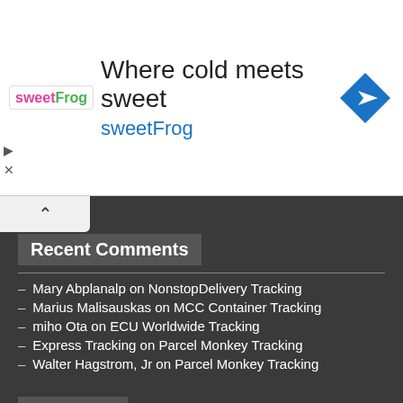[Figure (other): Advertisement banner for sweetFrog frozen yogurt: logo on left, headline 'Where cold meets sweet', subheading 'sweetFrog' in blue, navigation diamond icon on right]
Recent Comments
Mary Abplanalp on NonstopDelivery Tracking
Marius Malisauskas on MCC Container Tracking
miho Ota on ECU Worldwide Tracking
Express Tracking on Parcel Monkey Tracking
Walter Hagstrom, Jr on Parcel Monkey Tracking
Follow Us
Facebook
Twitter
YouTube
Blog